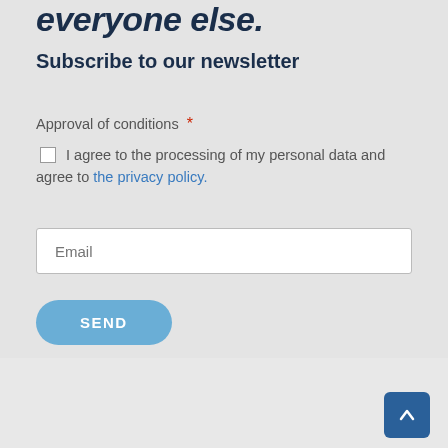everyone else.
Subscribe to our newsletter
Approval of conditions *
I agree to the processing of my personal data and agree to the privacy policy.
Email
SEND